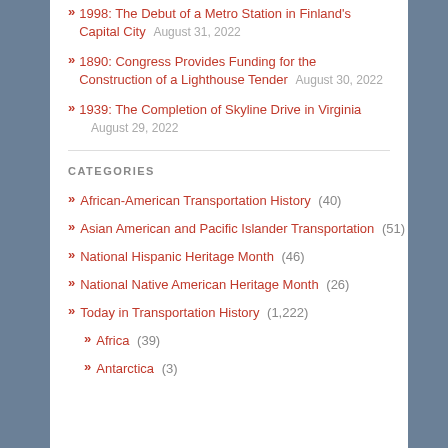1998: The Debut of a Metro Station in Finland's Capital City  August 31, 2022
1890: Congress Provides Funding for the Construction of a Lighthouse Tender  August 30, 2022
1939: The Completion of Skyline Drive in Virginia  August 29, 2022
CATEGORIES
African-American Transportation History (40)
Asian American and Pacific Islander Transportation (51)
National Hispanic Heritage Month (46)
National Native American Heritage Month (26)
Today in Transportation History (1,222)
Africa (39)
Antarctica (3)